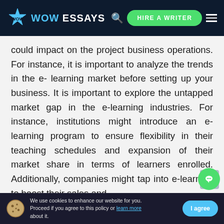WOW ESSAYS | HIRE A WRITER
could impact on the project business operations. For instance, it is important to analyze the trends in the e- learning market before setting up your business. It is important to explore the untapped market gap in the e-learning industries. For instance, institutions might introduce an e-learning program to ensure flexibility in their teaching schedules and expansion of their market share in terms of learners enrolled. Additionally, companies might tap into e-learning to boost their sales and
We use cookies to enhance our website for you. Proceed if you agree to this policy or learn more about it.